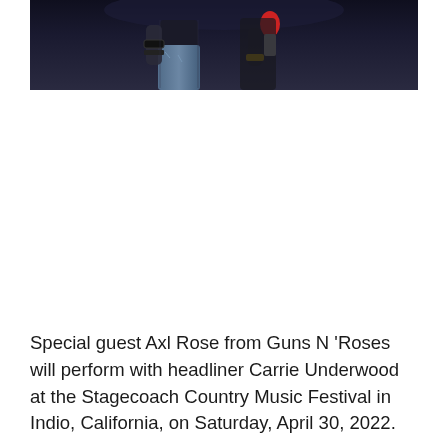[Figure (photo): Concert performance photo showing a performer holding a red microphone, wearing bracelets and jeans, against a dark stage background]
Special guest Axl Rose from Guns N 'Roses will perform with headliner Carrie Underwood at the Stagecoach Country Music Festival in Indio, California, on Saturday, April 30, 2022.